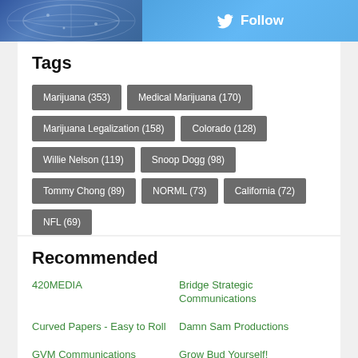[Figure (screenshot): Top banner with two sections: left side shows a blue world map graphic, right side shows a Twitter Follow button with bird icon on blue background]
Tags
Marijuana (353)
Medical Marijuana (170)
Marijuana Legalization (158)
Colorado (128)
Willie Nelson (119)
Snoop Dogg (98)
Tommy Chong (89)
NORML (73)
California (72)
NFL (69)
Recommended
420MEDIA
Bridge Strategic Communications
Curved Papers - Easy to Roll
Damn Sam Productions
GVM Communications
Grow Bud Yourself!
Hemp Ace International
High Magick
HoneySuckle Magazine
House of Saka